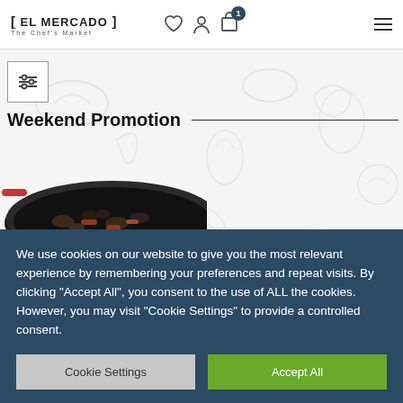[ EL MERCADO ] The Chef's Market
Weekend Promotion
[Figure (screenshot): Paella pan with seafood and ingredients visible from above, with light food illustration background]
We use cookies on our website to give you the most relevant experience by remembering your preferences and repeat visits. By clicking “Accept All”, you consent to the use of ALL the cookies. However, you may visit "Cookie Settings" to provide a controlled consent.
Cookie Settings
Accept All